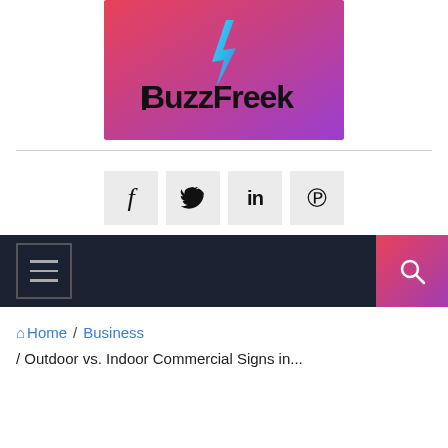[Figure (logo): BuzzFreek logo with gradient pink-to-purple background and lightning bolt icon above text 'BuzzFreek']
[Figure (infographic): Social media share buttons: Facebook (f), Twitter (bird), LinkedIn (in), Pinterest (p) — grey square icons]
[Figure (screenshot): Dark navigation bar with hamburger menu icon on left and pink-purple search button on right]
Home / Business / Outdoor vs. Indoor Commercial Signs in...